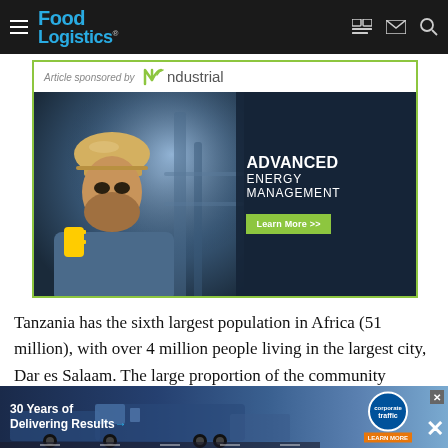Food Logistics
[Figure (screenshot): Advertisement banner for Ndustrial: 'Article sponsored by Ndustrial' with an image of a worker in a hard hat and text 'ADVANCED ENERGY MANAGEMENT' and a green 'Learn More >>' button on a dark background with green border.]
Tanzania has the sixth largest population in Africa (51 million), with over 4 million people living in the largest city, Dar es Salaam. The large proportion of the community consist of... businesses... East
[Figure (screenshot): Bottom advertisement banner: '30 Years of Delivering Results' with Corporate Traffic logo and a truck image on a dark blue background. Includes a close (X) button.]